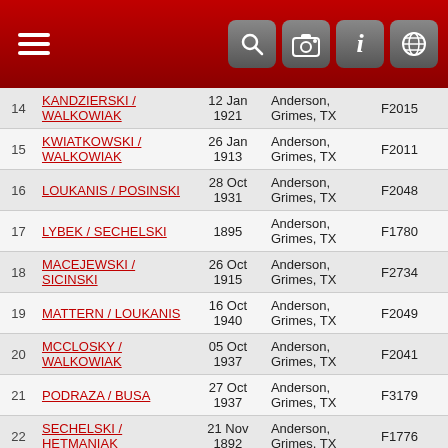Navigation header with menu and icons
| # | Name | Date | Location | ID |
| --- | --- | --- | --- | --- |
| 14 | KANDZIERSKI / WALKOWIAK | 12 Jan 1921 | Anderson, Grimes, TX | F2015 |
| 15 | KWIATKOWSKI / WALKOWIAK | 26 Jan 1913 | Anderson, Grimes, TX | F2011 |
| 16 | LOUKANIS / POSINSKI | 28 Oct 1931 | Anderson, Grimes, TX | F2048 |
| 17 | LYBEK / SECHELSKI | 1895 | Anderson, Grimes, TX | F1780 |
| 18 | MACEJEWSKI / SICINSKI | 26 Oct 1915 | Anderson, Grimes, TX | F2734 |
| 19 | MATTERN / LOUKANIS | 16 Oct 1940 | Anderson, Grimes, TX | F2049 |
| 20 | MCCLOSKY / WALKOWIAK | 05 Oct 1937 | Anderson, Grimes, TX | F2041 |
| 21 | PODRAZA / BUSA | 27 Oct 1937 | Anderson, Grimes, TX | F3179 |
| 22 | SECHELSKI / HETMANIAK | 21 Nov 1892 | Anderson, Grimes, TX | F1776 |
| 23 | SECHELSKI / KLAPECKI | 23 Nov 1890 | Anderson, Grimes, TX | F1778 |
| 24 | SECHELSKI / KWAITKOWSKI | 04 Nov 1902 | Anderson, Grimes, TX | F845 |